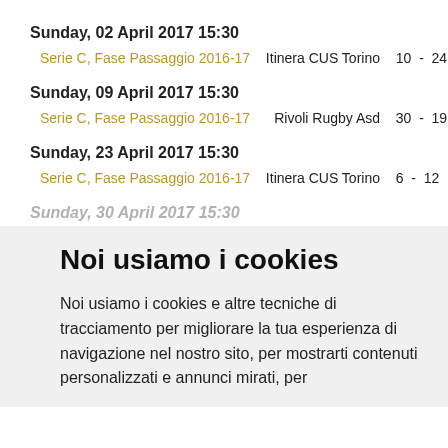Sunday, 02 April 2017 15:30
Serie C, Fase Passaggio 2016-17    Itinera CUS Torino   10  -  24   Amator…
Sunday, 09 April 2017 15:30
Serie C, Fase Passaggio 2016-17    Rivoli Rugby Asd   30  -  19   Itinera…
Sunday, 23 April 2017 15:30
Serie C, Fase Passaggio 2016-17    Itinera CUS Torino   6  -  12   Asd Ru…
Sunday, 30 April 2017 15:30
Noi usiamo i cookies
Noi usiamo i cookies e altre tecniche di tracciamento per migliorare la tua esperienza di navigazione nel nostro sito, per mostrarti contenuti personalizzati e annunci mirati, per